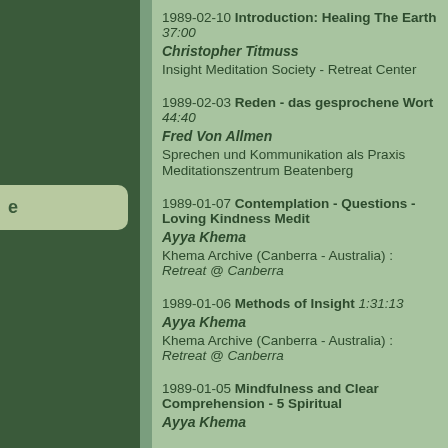1989-02-10 Introduction: Healing The Earth 37:00 | Christopher Titmuss | Insight Meditation Society - Retreat Center
1989-02-03 Reden - das gesprochene Wort 44:40 | Fred Von Allmen | Sprechen und Kommunikation als Praxis | Meditationszentrum Beatenberg
1989-01-07 Contemplation - Questions - Loving Kindness Medit... | Ayya Khema | Khema Archive (Canberra - Australia) : Retreat @ Canberra
1989-01-06 Methods of Insight 1:31:13 | Ayya Khema | Khema Archive (Canberra - Australia) : Retreat @ Canberra
1989-01-05 Mindfulness and Clear Comprehension - 5 Spiritual... | Ayya Khema